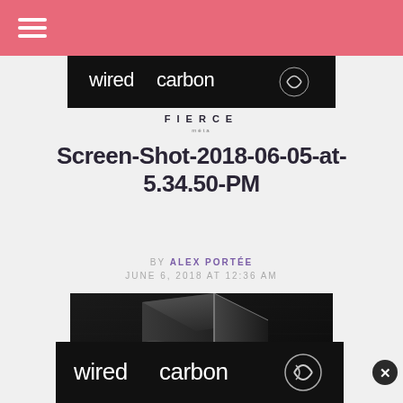Navigation bar with hamburger menu
[Figure (screenshot): WiredCarbon banner advertisement with white text on black background]
[Figure (logo): FIERCE logo with 'méta' subtitle]
Screen-Shot-2018-06-05-at-5.34.50-PM
BY ALEX PORTÉE JUNE 6, 2018 AT 12:36 AM
[Figure (photo): Dark 3D rendered image showing a glossy black geometric shape/box with reflective surfaces on dark background]
[Figure (screenshot): wiredcarbon advertisement banner with logo]